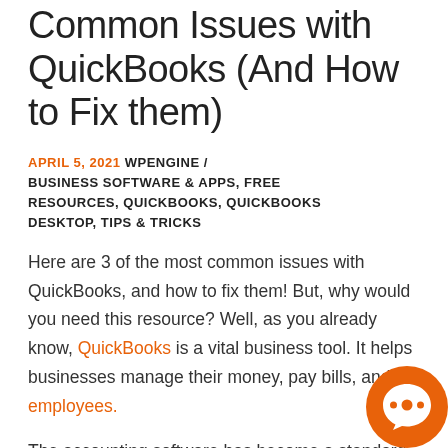Common Issues with QuickBooks (And How to Fix them)
APRIL 5, 2021 WPENGINE / BUSINESS SOFTWARE & APPS, FREE RESOURCES, QUICKBOOKS, QUICKBOOKS DESKTOP, TIPS & TRICKS
Here are 3 of the most common issues with QuickBooks, and how to fix them! But, why would you need this resource? Well, as you already know, QuickBooks is a vital business tool. It helps businesses manage their money, pay bills, and employees.
The accounting software has become a standard for those who seek a simple means
[Figure (logo): Orange circular chat bubble icon with white chat symbol inside]